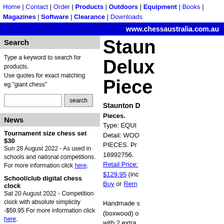Home | Contact | Order | Products | Outdoors | Equipment | Books | Magazines | Software | Clearance | Downloads
www.chessaustralia.com.au
Search
Type a keyword to search for products.
Use quotes for exact matching
eg "giant chess"
News
Tournament size chess set $30
Sun 28 August 2022 - As used in schools and national competitions. For more information click here.
School/club digital chess clock
Sat 20 August 2022 - Competition clock with absolute simplicity -$59.95 For more information click here.
[Figure (photo): Digital chess clock device]
Staunton Deluxe Pieces.
Staunton Deluxe Pieces.
Type: EQUIPMENT
Detail: WOOD CHESS PIECES. Product code: 18992756.
Retail Price: $129.95 (inc... Buy or Remove
Handmade (boxwood) with 2 extra...
This prestigious set made in India is ideal for any...